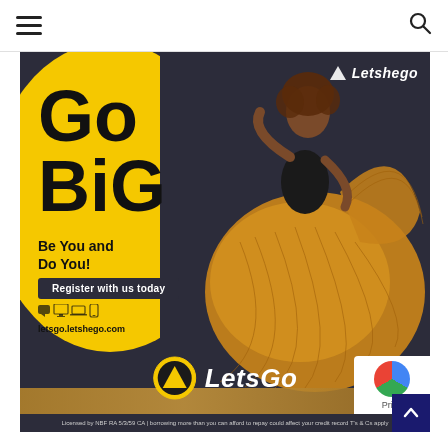☰ [hamburger menu] | [search icon]
[Figure (advertisement): Letshego 'Go BiG' advertisement featuring a woman in an orange pleated skirt dancing against a dark background, with a large yellow ellipse containing bold 'Go BiG' text, tagline 'Be You and Do You!', a 'Register with us today' button, device icons, letsgo.letshego.com URL, and the LetsGo brand logo at the bottom. Fine print license text at the very bottom.]